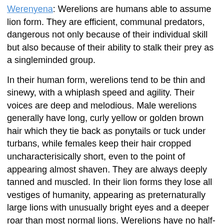Werenyena: Werelions are humans able to assume lion form. They are efficient, communal predators, dangerous not only because of their individual skill but also because of their ability to stalk their prey as a singleminded group.
In their human form, werelions tend to be thin and sinewy, with a whiplash speed and agility. Their voices are deep and melodious. Male werelions generally have long, curly yellow or golden brown hair which they tie back as ponytails or tuck under turbans, while females keep their hair cropped uncharacterisically short, even to the point of appearing almost shaven. They are always deeply tanned and muscled. In their lion forms they lose all vestiges of humanity, appearing as preternaturally large lions with unusually bright eyes and a deeper roar than most normal lions. Werelions have no half-human form.
Werelions can speak with all felines, though this does not mean that all cats are friendly toward them. They can even communicate with feline monsters. They are rarely found with real lions and prefer human company to the company of